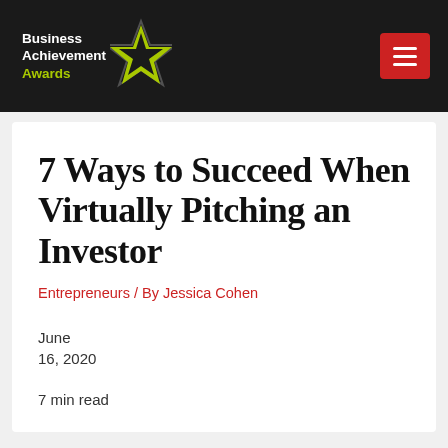[Figure (logo): Business Achievement Awards logo with white text and lime-green star on dark background, with red hamburger menu button on the right]
7 Ways to Succeed When Virtually Pitching an Investor
Entrepreneurs / By Jessica Cohen
June
16, 2020
7 min read